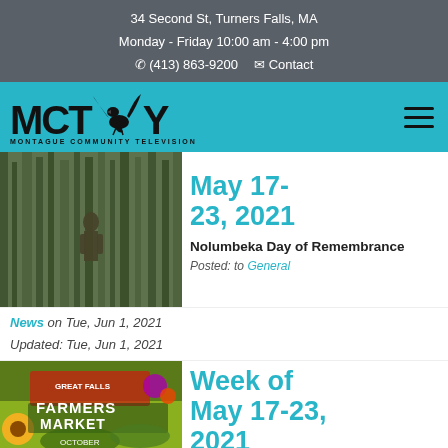34 Second St, Turners Falls, MA
Monday - Friday 10:00 am - 4:00 pm
☎ (413) 863-9200  ✉ Contact
[Figure (logo): MCTY Montague Community Television logo with eagle graphic on cyan nav bar]
[Figure (photo): Blurry forest/cornfield scene with person, thumbnail for Week of May 17-23, 2021 article]
Week of May 17-23, 2021
Nolumbeka Day of Remembrance
Posted: to General
News on Tue, Jun 1, 2021
Updated: Tue, Jun 1, 2021
[Figure (photo): Great Falls Farmers Market colorful promotional image thumbnail]
Week of May 17-23, 2021